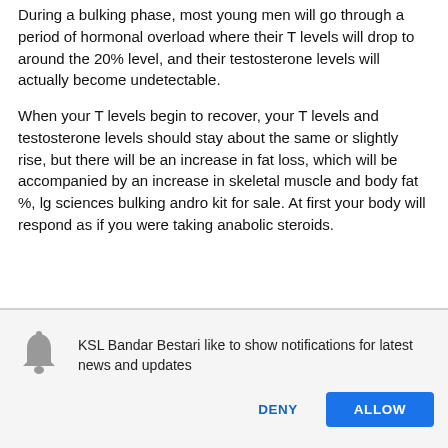During a bulking phase, most young men will go through a period of hormonal overload where their T levels will drop to around the 20% level, and their testosterone levels will actually become undetectable.
When your T levels begin to recover, your T levels and testosterone levels should stay about the same or slightly rise, but there will be an increase in fat loss, which will be accompanied by an increase in skeletal muscle and body fat %, lg sciences bulking andro kit for sale. At first your body will respond as if you were taking anabolic steroids.
[Figure (infographic): Browser notification permission dialog with bell icon. Text reads: KSL Bandar Bestari like to show notifications for latest news and updates. Two buttons: DENY (blue text) and ALLOW (blue filled button).]